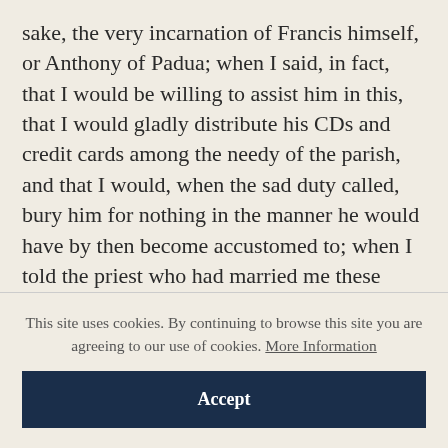sake, the very incarnation of Francis himself, or Anthony of Padua; when I said, in fact, that I would be willing to assist him in this, that I would gladly distribute his CDs and credit cards among the needy of the parish, and that I would, when the sad duty called, bury him for nothing in the manner he would have by then become accustomed to; when I told the priest who had married me these things, he said nothing at all, but turned his wild eye on me in the way that the cleric must have looked on Sweeney years ago,
This site uses cookies. By continuing to browse this site you are agreeing to our use of cookies. More Information
Accept